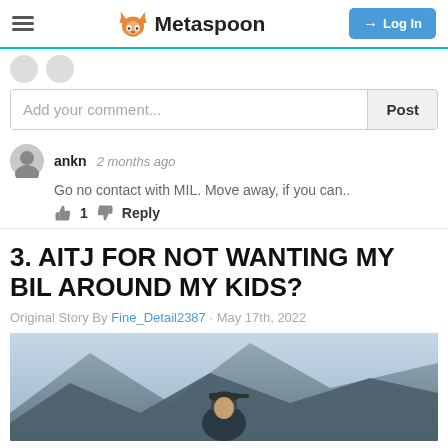Metaspoon
Add your comment...
ankn  2 months ago
Go no contact with MIL. Move away, if you can..
👍 1 👎 Reply
3. AITJ FOR NOT WANTING MY BIL AROUND MY KIDS?
Original Story By Fine_Detail2387 · May 17th, 2022
[Figure (photo): Person wearing a green cap outdoors with mountain background]